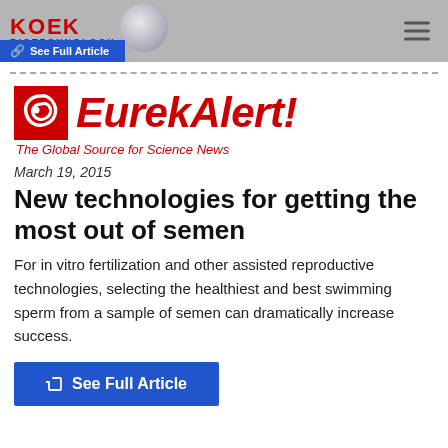[Figure (logo): KOEK Biotechnology logo with globe icon and navigation bar with hamburger menu]
[Figure (logo): EurekAlert! - The Global Source for Science News logo in red italic]
March 19, 2015
New technologies for getting the most out of semen
For in vitro fertilization and other assisted reproductive technologies, selecting the healthiest and best swimming sperm from a sample of semen can dramatically increase success.
See Full Article